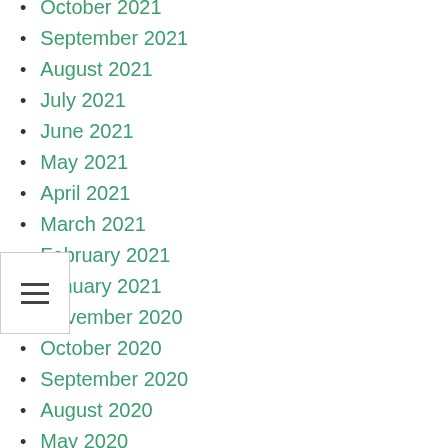October 2021
September 2021
August 2021
July 2021
June 2021
May 2021
April 2021
March 2021
February 2021
January 2021
November 2020
October 2020
September 2020
August 2020
May 2020
April 2020
March 2020
January 2020
November 2019